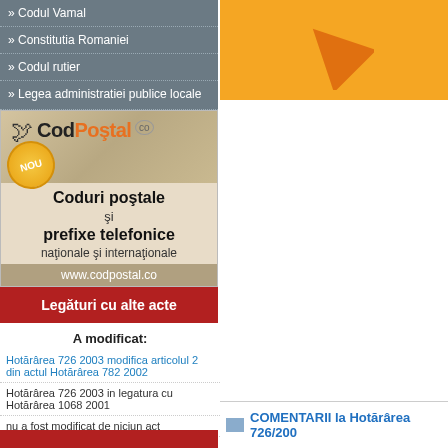Codul Vamal
Constitutia Romaniei
Codul rutier
Legea administratiei publice locale
[Figure (illustration): CodPostal.co advertisement banner showing logo, NOU badge, Coduri postale si prefixe telefonice nationale si internationale, www.codpostal.co]
Legaturi cu alte acte
A modificat:
Hotararea 726 2003 modifica articolul 2 din actul Hotararea 782 2002
Hotararea 726 2003 in legatura cu Hotararea 1068 2001
nu a fost modificat de niciun act
[Figure (illustration): Orange banner with upward arrow graphic]
COMENTARII la Hotararea 726/200